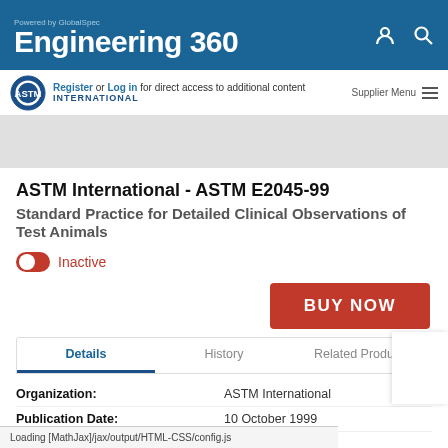Powered by GlobalSpec Engineering 360
Register or Log in for direct access to additional content
Supplier Menu
ASTM International - ASTM E2045-99
Standard Practice for Detailed Clinical Observations of Test Animals
Inactive
BUY NOW
Details | History | Related Products
Organization: ASTM International
Publication Date: 10 October 1999
Loading [MathJax]/jax/output/HTML-CSS/config.js